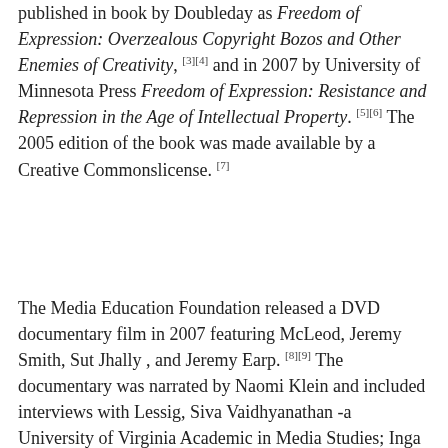published in book by Doubleday as Freedom of Expression: Overzealous Copyright Bozos and Other Enemies of Creativity, [3][4] and in 2007 by University of Minnesota Press Freedom of Expression: Resistance and Repression in the Age of Intellectual Property. [5][6] The 2005 edition of the book was made available by a Creative Commonslicense. [7]
The Media Education Foundation released a DVD documentary film in 2007 featuring McLeod, Jeremy Smith, Sut Jhally , and Jeremy Earp. [8][9] The documentary was narrated by Naomi Klein and included interviews with Lessig, Siva Vaidhyanathan -a University of Virginia Academic in Media Studies; Inga Chernyak-co-founder of Free Culture at New